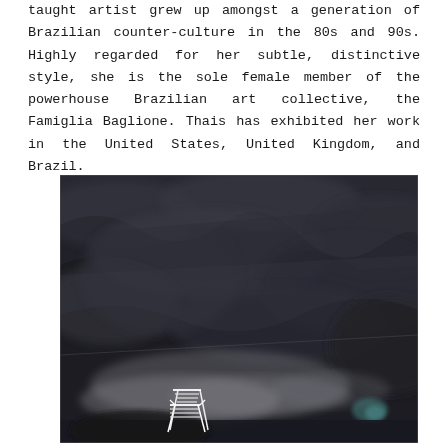taught artist grew up amongst a generation of Brazilian counter-culture in the 80s and 90s. Highly regarded for her subtle, distinctive style, she is the sole female member of the powerhouse Brazilian art collective, the Famiglia Baglione. Thais has exhibited her work in the United States, United Kingdom, and Brazil.
[Figure (photo): A large dark artwork or photograph showing a textured dark grey and black surface resembling rock or fabric folds, with a small white chair sitting in the lower left portion of the composition, and some lighter white/pale colored patches near the bottom.]